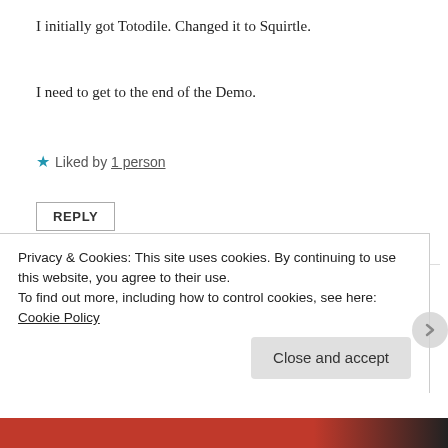I initially got Totodile. Changed it to Squirtle.
I need to get to the end of the Demo.
★ Liked by 1 person
REPLY
meghanplaysgames
February 11, 2020 at 1:54 pm
90% of the time, I go for a Water starter – they're
Privacy & Cookies: This site uses cookies. By continuing to use this website, you agree to their use.
To find out more, including how to control cookies, see here: Cookie Policy
Close and accept